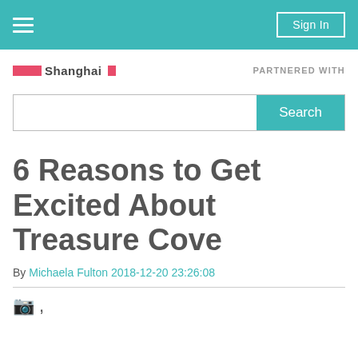Sign In
[Figure (logo): Shanghai publication logo with red bar and text]
PARTNERED WITH
[Figure (other): Search bar with Search button]
6 Reasons to Get Excited About Treasure Cove
By Michaela Fulton 2018-12-20 23:26:08